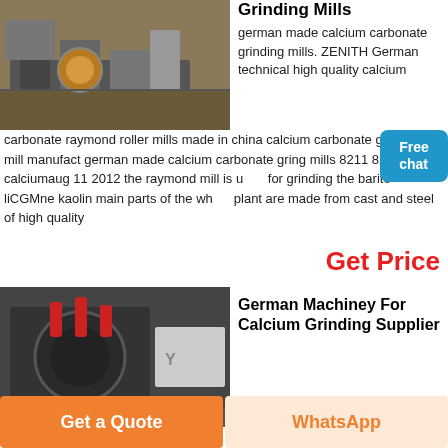[Figure (photo): Industrial grinding mill machinery at a plant site, showing heavy equipment with conveyor systems.]
Grinding Mills
german made calcium carbonate grinding mills. ZENITH German technical high quality calcium carbonate raymond roller mills made in china calcium carbonate grinding mill manufact german made calcium carbonate grinding mills 8211 8230 calciumaug 11 2012 the raymond mill is used for grinding the barite liCGMne kaolin main parts of the whole plant are made from cast and steel of high quality
Get Price
German Machiney For Calcium Grinding Supplier
[Figure (photo): Industrial heavy machinery for calcium grinding, showing large dark metal equipment with red components.]
Get a Quote
WhatsApp